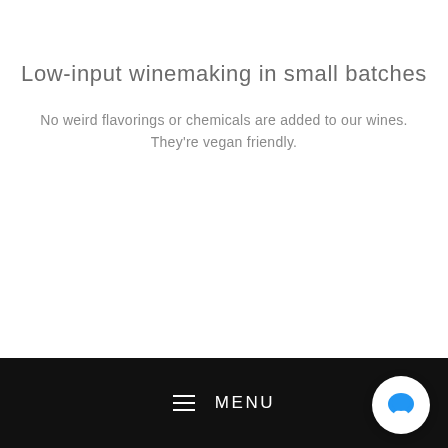Low-input winemaking in small batches
No weird flavorings or chemicals are added to our wines. They're vegan friendly.
MENU